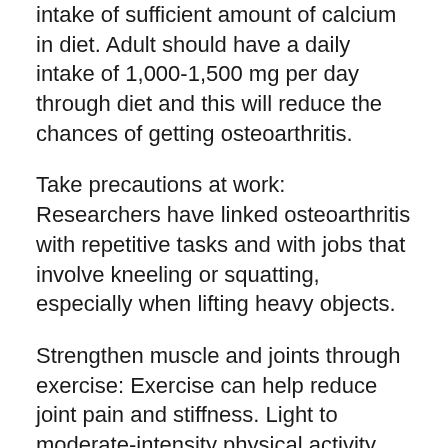intake of sufficient amount of calcium in diet. Adult should have a daily intake of 1,000-1,500 mg per day through diet and this will reduce the chances of getting osteoarthritis.
Take precautions at work: Researchers have linked osteoarthritis with repetitive tasks and with jobs that involve kneeling or squatting, especially when lifting heavy objects.
Strengthen muscle and joints through exercise: Exercise can help reduce joint pain and stiffness. Light to moderate-intensity physical activity may prevent or delay the process of bone degeneration.
Avoids sports injury: Avoid sport injury by taking proper precaution while playing or doing exercise. Precautions that you should take while exercising include using